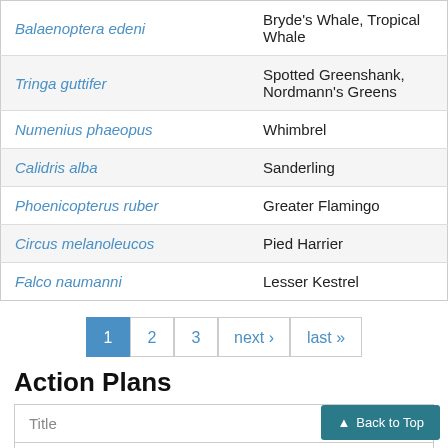| Scientific Name | Common Name |
| --- | --- |
| Balaenoptera edeni | Bryde's Whale, Tropical Whale |
| Tringa guttifer | Spotted Greenshank, Nordmann's Greens |
| Numenius phaeopus | Whimbrel |
| Calidris alba | Sanderling |
| Phoenicopterus ruber | Greater Flamingo |
| Circus melanoleucos | Pied Harrier |
| Falco naumanni | Lesser Kestrel |
Pagination: 1 2 3 next› last»
Action Plans
| Title |
| --- |
| African-Eurasian Migratory Landbirds Action Plan (AEMLAP): |